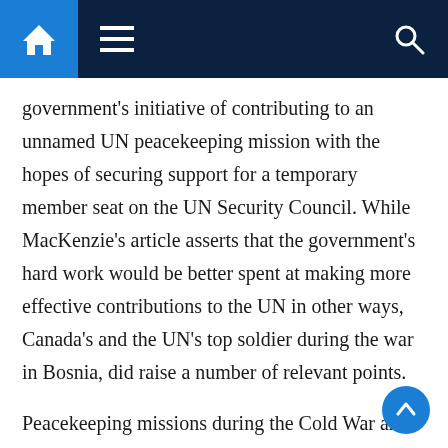Navigation bar with home, menu, and search icons
government's initiative of contributing to an unnamed UN peacekeeping mission with the hopes of securing support for a temporary member seat on the UN Security Council. While MacKenzie's article asserts that the government's hard work would be better spent at making more effective contributions to the UN in other ways, Canada's and the UN's top soldier during the war in Bosnia, did raise a number of relevant points.
Peacekeeping missions during the Cold War and in the decade following were far different from the ones Canada is likely to encounter today. In particular, Mackenzie explained that most peacekeeping missions during his time were conducted by soldiers who were not expected to use the force of hostile at…